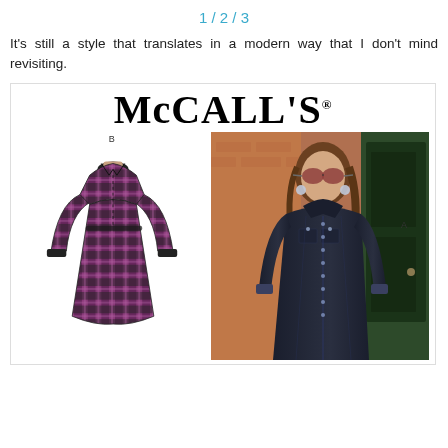1 / 2 / 3
It's still a style that translates in a modern way that I don't mind revisiting.
[Figure (photo): McCall's sewing pattern cover showing two shirt dress designs: version B is a plaid long-sleeve dress illustration, and version A is a model wearing a dark denim long shirt dress outdoors.]